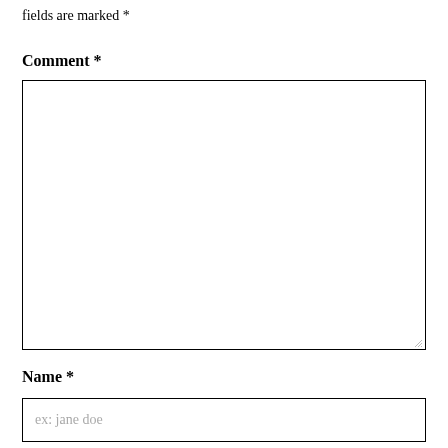fields are marked *
Comment *
[Figure (other): Large empty comment textarea input box with resize handle in bottom-right corner]
Name *
[Figure (other): Single-line text input field with placeholder text 'ex: jane doe']